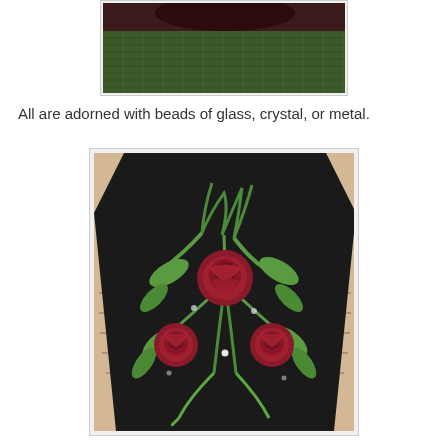[Figure (photo): Close-up photo of a dark garment (appears dark maroon/brown at top) with green knit fabric visible, partially cropped at top of page]
All are adorned with beads of glass, crystal, or metal.
[Figure (photo): Photo of a black knitted or crocheted item showing embroidered floral design with red roses and green leaves, beaded embellishments visible on dark background]